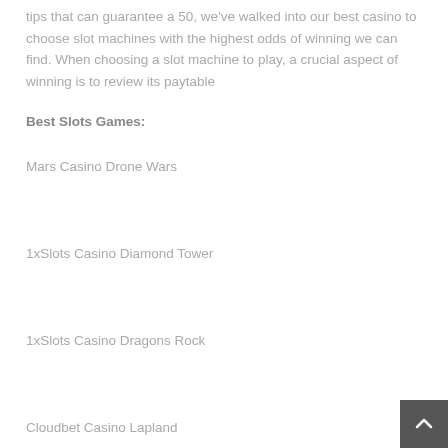tips that can guarantee a 50, we've walked into our best casino to choose slot machines with the highest odds of winning we can find. When choosing a slot machine to play, a crucial aspect of winning is to review its paytable
Best Slots Games:
Mars Casino Drone Wars
1xSlots Casino Diamond Tower
1xSlots Casino Dragons Rock
Cloudbet Casino Lapland